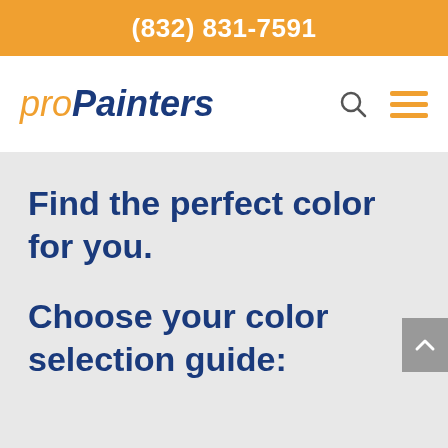(832) 831-7591
proPainters
Find the perfect color for you.
Choose your color selection guide: